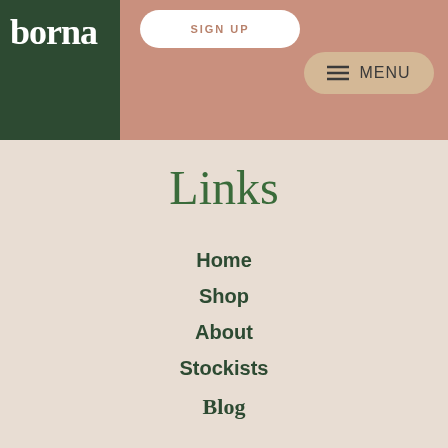SIGN UP | MENU
[Figure (logo): borna borna brand logo — white serif text on dark green background, two lines reading 'borna' and 'borna']
Links
Home
Shop
About
Stockists
Blog